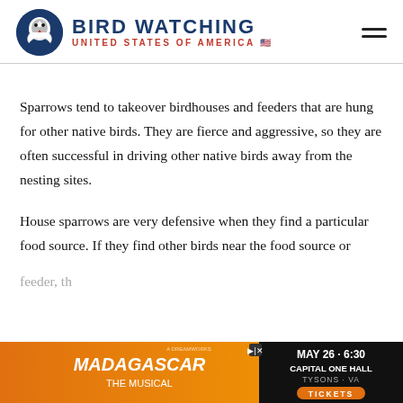BIRD WATCHING UNITED STATES OF AMERICA
Sparrows tend to takeover birdhouses and feeders that are hung for other native birds. They are fierce and aggressive, so they are often successful in driving other native birds away from the nesting sites.
House sparrows are very defensive when they find a particular food source. If they find other birds near the food source or feeder, th...
[Figure (other): Madagascar the Musical advertisement banner with orange background, showing MAY 26 - 6:30, CAPITAL ONE HALL, TYSONS - VA, TICKETS]